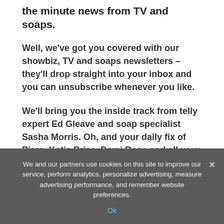the minute news from TV and soaps.
Well, we've got you covered with our showbiz, TV and soaps newsletters – they'll drop straight into your inbox and you can unsubscribe whenever you like.
We'll bring you the inside track from telly expert Ed Gleave and soap specialist Sasha Morris. Oh, and your daily fix of Piers, Katie Price, Demi Rose and all your other Daily Star favs.
You can sign up here – you won't regret it...
She said: "What I love about UK crowds is they know every
We and our partners use cookies on this site to improve our service, perform analytics, personalize advertising, measure advertising performance, and remember website preferences.
Ok